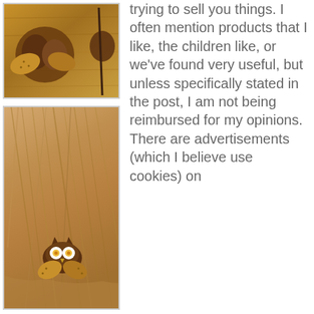[Figure (photo): Top photo showing felt craft pieces (owl-shaped decorations in brown and golden yellow) on a wooden surface]
[Figure (photo): Bottom photo showing the back of a child's head with blonde hair pulled back, featuring a small owl hair accessory made of brown and yellow felt with white and orange button eyes]
trying to sell you things. I often mention products that I like, the children like, or we've found very useful, but unless specifically stated in the post, I am not being reimbursed for my opinions. There are advertisements (which I believe use cookies) on